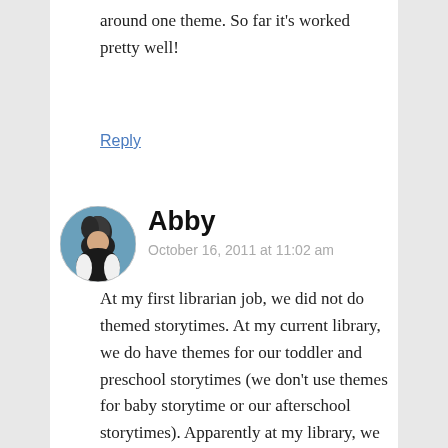around one theme. So far it's worked pretty well!
Reply
Abby
October 16, 2011 at 11:02 am
At my first librarian job, we did not do themed storytimes. At my current library, we do have themes for our toddler and preschool storytimes (we don't use themes for baby storytime or our afterschool storytimes). Apparently at my library, we used to have an overarching